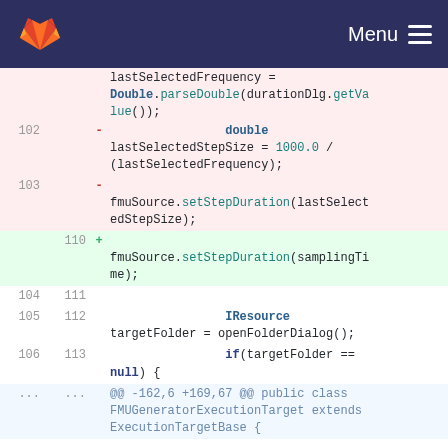Menu
[Figure (screenshot): GitLab code diff view showing removal of double lastSelectedStepSize calculation and setStepDuration call, replaced with setStepDuration(samplingTime). Lines 102-103 removed, line 110 added. Lines 104-106/111-113 show IResource targetFolder and if(targetFolder == null) { unchanged lines.]
@@ -162,6 +169,67 @@ public class FMUGeneratorExecutionTarget extends ExecutionTargetBase {